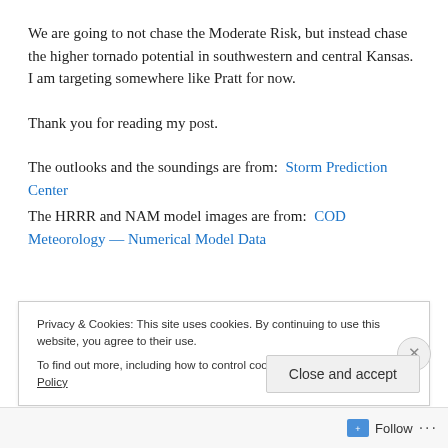We are going to not chase the Moderate Risk, but instead chase the higher tornado potential in southwestern and central Kansas.  I am targeting somewhere like Pratt for now.
Thank you for reading my post.
The outlooks and the soundings are from:  Storm Prediction Center
The HRRR and NAM model images are from:  COD Meteorology — Numerical Model Data
Privacy & Cookies: This site uses cookies. By continuing to use this website, you agree to their use.
To find out more, including how to control cookies, see here: Cookie Policy
Close and accept
Follow